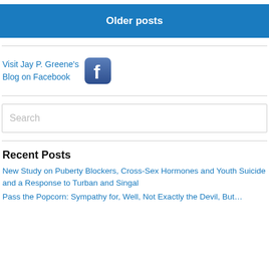Older posts
[Figure (logo): Facebook logo icon — rounded square with blue gradient background and white 'f' letter]
Visit Jay P. Greene's Blog on Facebook
Search
Recent Posts
New Study on Puberty Blockers, Cross-Sex Hormones and Youth Suicide and a Response to Turban and Singal
Pass the Popcorn: Sympathy for, Well, Not Exactly the Devil, But…